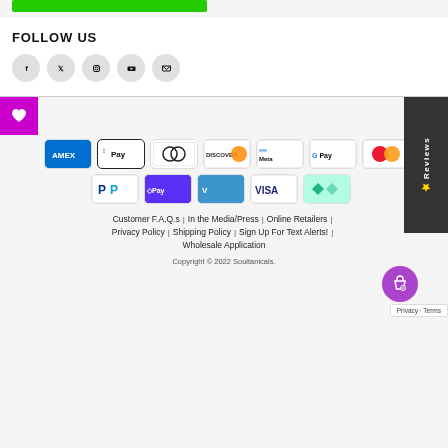[Figure (illustration): Green button at top of page]
FOLLOW US
[Figure (illustration): Social media icons: Facebook, Twitter, Instagram, YouTube, Email in grey circles]
[Figure (illustration): Payment method logos: AMEX, Apple Pay, Diners Club, Discover, Meta Pay, Google Pay, Mastercard, PayPal, Shop Pay, Venmo, Visa, AfterPay]
Customer F.A.Q.s | In the Media/Press | Online Retailers | Privacy Policy | Shipping Policy | Sign Up For Text Alerts! | Wholesale Application
Copyright © 2022 Soultanicals.